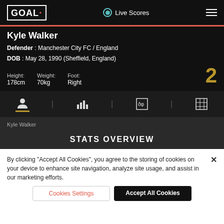GOAL | Live Scores
Kyle Walker
Defender : Manchester City FC / England
DOB : May 28, 1990 (Sheffield, England)
Height: 178cm  Weight: 70kg  Foot: Right  2
[Figure (other): Navigation bar with icons: profile, bar chart, compare, table/grid]
Kyle Walker
STATS OVERVIEW
By clicking "Accept All Cookies", you agree to the storing of cookies on your device to enhance site navigation, analyze site usage, and assist in our marketing efforts.
Cookies Settings    Accept All Cookies